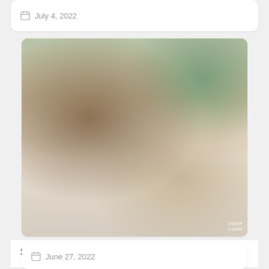July 4, 2022
[Figure (photo): A bedroom scene with two people on a bed]
Squirt And Cum
June 27, 2022